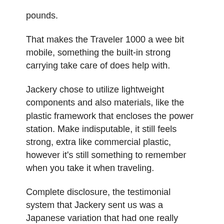pounds.
That makes the Traveler 1000 a wee bit mobile, something the built-in strong carrying take care of does help with.
Jackery chose to utilize lightweight components and also materials, like the plastic framework that encloses the power station. Make indisputable, it still feels strong, extra like commercial plastic, however it's still something to remember when you take it when traveling.
Complete disclosure, the testimonial system that Jackery sent us was a Japanese variation that had one really essential design adjustment.
The deal with could be folded down to make